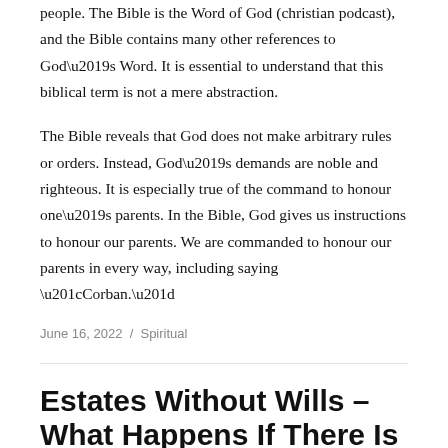people. The Bible is the Word of God (christian podcast), and the Bible contains many other references to God's Word. It is essential to understand that this biblical term is not a mere abstraction.
The Bible reveals that God does not make arbitrary rules or orders. Instead, God's demands are noble and righteous. It is especially true of the command to honour one's parents. In the Bible, God gives us instructions to honour our parents. We are commanded to honour our parents in every way, including saying “Corban.”
June 16, 2022 / Spiritual
Estates Without Wills – What Happens If There Is